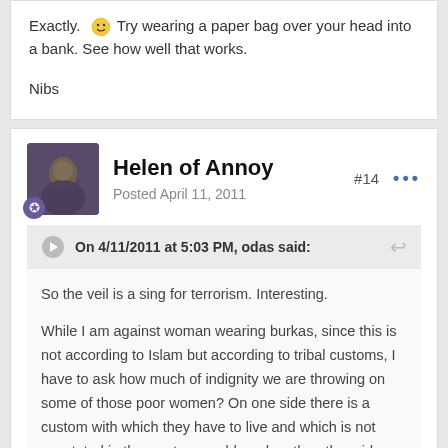Exactly. 🙂 Try wearing a paper bag over your head into a bank. See how well that works.

Nibs
Helen of Annoy
Posted April 11, 2011
#14
On 4/11/2011 at 5:03 PM, odas said:
So the veil is a sing for terrorism. Interesting.

While I am against woman wearing burkas, since this is not according to Islam but according to tribal customs, I have to ask how much of indignity we are throwing on some of those poor women? On one side there is a custom with which they have to live and which is not accetpted in the western world, and on the other side we are imposing and threatening them with jail if they wear it. Those poor woman are victims of both, the tribal customs